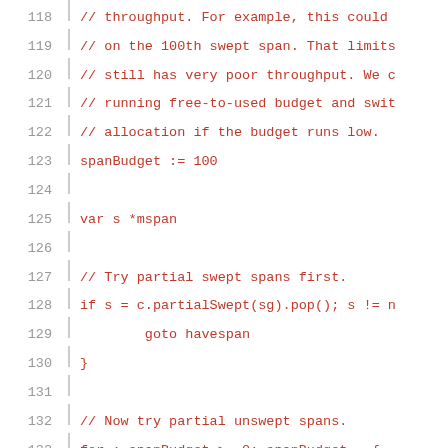[Figure (screenshot): Source code listing showing Go programming language code with line numbers 118-139. Lines 118-122 are comments in red about throughput and budget. Line 123 declares spanBudget := 100. Line 125 declares var s *mspan. Lines 127-130 show a comment and if block for partial swept spans. Lines 132-138 show a comment and for loop for partial unswept spans. Line 139 is a partial comment.]